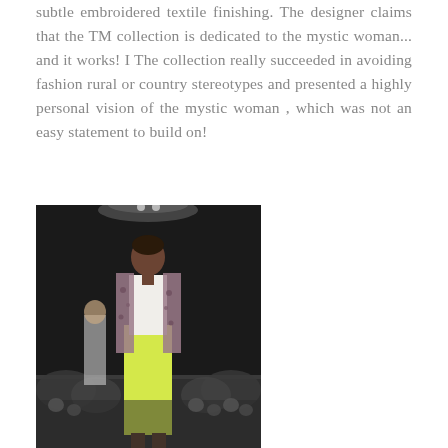subtle embroidered textile finishing. The designer claims that the TM collection is dedicated to the mystic woman... and it works! I The collection really succeeded in avoiding fashion rural or country stereotypes and presented a highly personal vision of the mystic woman , which was not an easy statement to build on!
[Figure (photo): Fashion runway photo showing a model in a yellow maxi skirt, white top, and floral jacket walking on a dark runway with audience and another model visible in the background.]